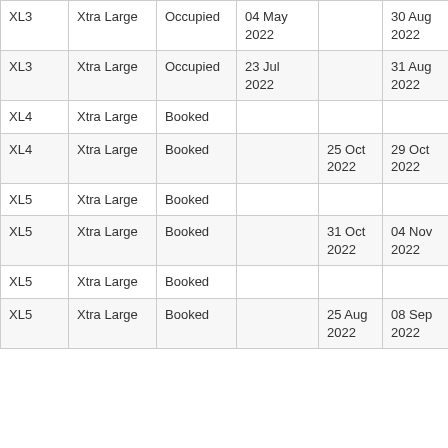| XL3 | Xtra Large | Occupied | 04 May 2022 |  | 30 Aug 2022 |
| XL3 | Xtra Large | Occupied | 23 Jul 2022 |  | 31 Aug 2022 |
| XL4 | Xtra Large | Booked |  |  |  |
| XL4 | Xtra Large | Booked |  | 25 Oct 2022 | 29 Oct 2022 |
| XL5 | Xtra Large | Booked |  |  |  |
| XL5 | Xtra Large | Booked |  | 31 Oct 2022 | 04 Nov 2022 |
| XL5 | Xtra Large | Booked |  |  |  |
| XL5 | Xtra Large | Booked |  | 25 Aug 2022 | 08 Sep 2022 |